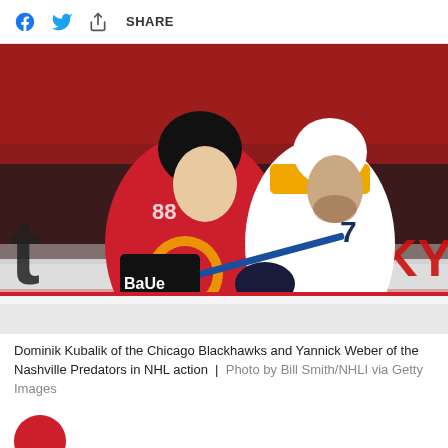SHARE
[Figure (photo): Dominik Kubalik of the Chicago Blackhawks in a red jersey with number 88, and Yannick Weber of the Nashville Predators in a white and gold jersey with number 7, competing in NHL hockey action on the ice with a crowd in the background.]
Dominik Kubalik of the Chicago Blackhawks and Yannick Weber of the Nashville Predators in NHL action  |  Photo by Bill Smith/NHLI via Getty Images